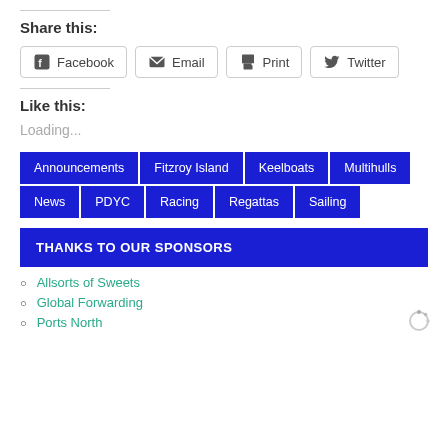Share this:
[Figure (other): Social share buttons: Facebook, Email, Print, Twitter]
Like this:
Loading...
Announcements  Fitzroy Island  Keelboats  Multihulls  News  PDYC  Racing  Regattas  Sailing
THANKS TO OUR SPONSORS
Allsorts of Sweets
Global Forwarding
Ports North